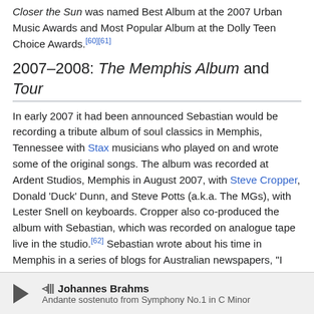Closer the Sun was named Best Album at the 2007 Urban Music Awards and Most Popular Album at the Dolly Teen Choice Awards.[60][61]
2007–2008: The Memphis Album and Tour
In early 2007 it had been announced Sebastian would be recording a tribute album of soul classics in Memphis, Tennessee with Stax musicians who played on and wrote some of the original songs. The album was recorded at Ardent Studios, Memphis in August 2007, with Steve Cropper, Donald 'Duck' Dunn, and Steve Potts (a.k.a. The MGs), with Lester Snell on keyboards. Cropper also co-produced the album with Sebastian, which was recorded on analogue tape live in the studio.[62] Sebastian wrote about his time in Memphis in a series of blogs for Australian newspapers, "I started recording four days ago with the band members from Booker T and the MGs. And in the four days, we cut 15 tracks. It's been such a
Johannes Brahms — Andante sostenuto from Symphony No.1 in C Minor